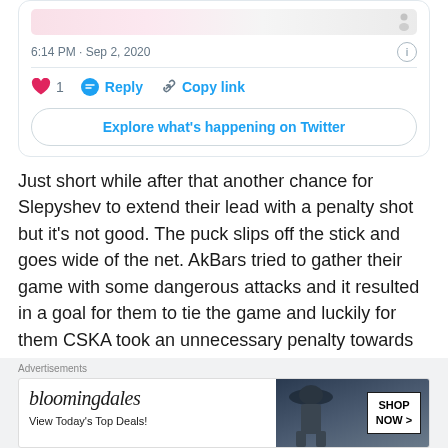[Figure (screenshot): Twitter/X tweet card showing timestamp 6:14 PM · Sep 2, 2020 with like (1), reply, and copy link actions, and an 'Explore what's happening on Twitter' button]
Just short while after that another chance for Slepyshev to extend their lead with a penalty shot but it's not good. The puck slips off the stick and goes wide of the net. AkBars tried to gather their game with some dangerous attacks and it resulted in a goal for them to tie the game and luckily for them CSKA took an unnecessary penalty towards the end of regulation granting the guest side and the home team at least a point each.
[Figure (screenshot): Bloomingdale's advertisement banner saying 'View Today's Top Deals!' with a SHOP NOW button and image of woman in hat]